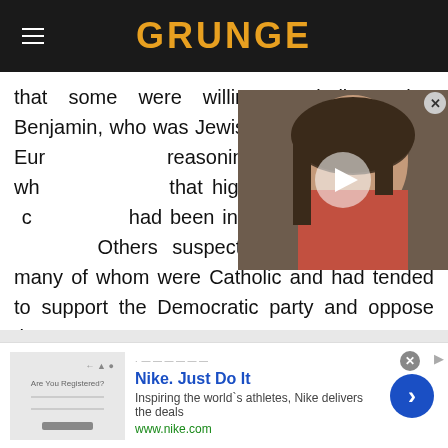GRUNGE
that some were willing to believe that Benjamin, who was Jewish, had alleged ties to Eur... reasoning can be applied to wh... that high-ranking Catholics – c... had been involved in a plot to... Others suspected Irish immigrants, many of whom were Catholic and had tended to support the Democratic party and oppose the war.
[Figure (photo): Video thumbnail showing a woman with dark hair, with a play button overlay and close button]
[Figure (screenshot): Nike advertisement banner: 'Nike. Just Do It' with tagline 'Inspiring the world's athletes, Nike delivers the deals' and url www.nike.com]